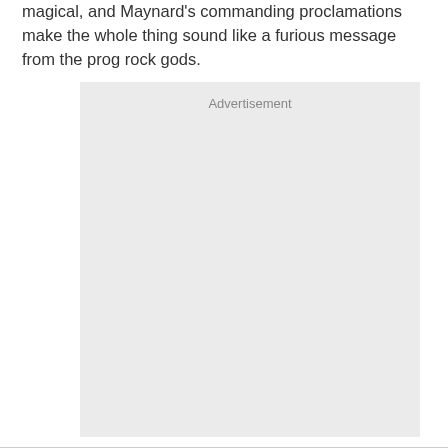magical, and Maynard's commanding proclamations make the whole thing sound like a furious message from the prog rock gods.
[Figure (other): Advertisement placeholder box with light gray background and 'Advertisement' label at top center]